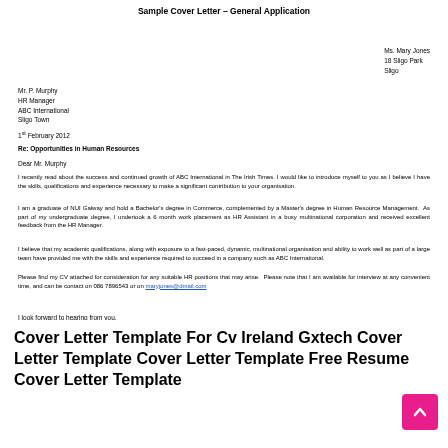Sample Cover Letter – General Application
Ms. Mary Jones
18 Sligo Park
Sligo
Mr. P. Murphy
HR Manager
ABC International
Sligo Town
1st February 2012
Re: Opportunities in Human Resources
Dear Mr. Murphy
I recently read about the success and continued growth of ABC International in The Irish Times. I would like to introduce myself to you as I believe I have the skills, qualifications and experience necessary to make a significant contribution to your organisation.
I am a graduate of NUI Galway and hold a Bachelor's degree in Commerce, complemented by a Master's degree in Human Resource Management. As part of my undergraduate degree, I undertook a 6 month work placement as HR Assistant in a busy multinational corporation and received excellent feedback from the HR Manager.
I believe that my academic qualifications, along with exposure to a fast-paced, dynamic, multinational organisation and ability to work well as part of a large team have provided me with the skills and experience required to succeed in a company such as ABC International.
Please find my CV attached for consideration for any suitable HR positions that may arise. Please note that I am available for interview at any convenient time, and can be contact on 086 7896543 or on maryjones@dmail.com
I look forward to hearing from you.
Mary Jones (signature)
Mary Jones
Cover Letter Template For Cv Ireland Gxtech Cover Letter Template Cover Letter Template Free Resume Cover Letter Template